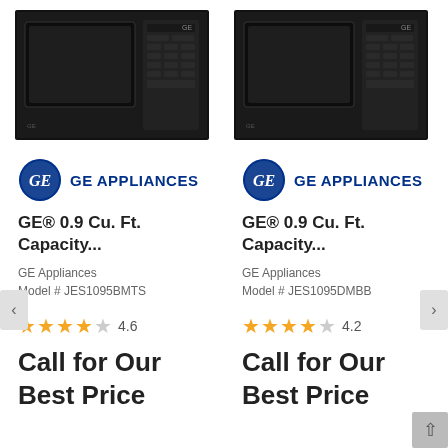[Figure (photo): GE black microwave oven product photo, front view]
[Figure (logo): GE Appliances logo with blue circle and text]
GE® 0.9 Cu. Ft. Capacity...
GE Appliances
Model # JES1095BMTS
4.6
Call for Our Best Price
[Figure (photo): GE black microwave oven product photo, front view]
[Figure (logo): GE Appliances logo with blue circle and text]
GE® 0.9 Cu. Ft. Capacity...
GE Appliances
Model # JES1095DMBB
4.2
Call for Our Best Price